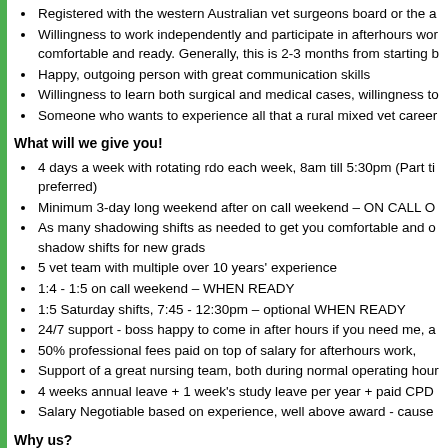Registered with the western Australian vet surgeons board or the a
Willingness to work independently and participate in afterhours wor comfortable and ready. Generally, this is 2-3 months from starting b
Happy, outgoing person with great communication skills
Willingness to learn both surgical and medical cases, willingness to
Someone who wants to experience all that a rural mixed vet career
What will we give you!
4 days a week with rotating rdo each week, 8am till 5:30pm (Part ti preferred)
Minimum 3-day long weekend after on call weekend – ON CALL O
As many shadowing shifts as needed to get you comfortable and o shadow shifts for new grads
5 vet team with multiple over 10 years' experience
1:4 - 1:5 on call weekend – WHEN READY
1:5 Saturday shifts, 7:45 - 12:30pm – optional WHEN READY
24/7 support - boss happy to come in after hours if you need me, a
50% professional fees paid on top of salary for afterhours work,
Support of a great nursing team, both during normal operating hour
4 weeks annual leave + 1 week's study leave per year + paid CPD
Salary Negotiable based on experience, well above award - cause
Why us?
Geraldton is a vibrant growing coastal town with a wide range of ca outdoor activities including dolphin and whale watching, fishing, an 37,000 people.
We are a young dynamic team looking to grow while still offering su
Mixed animal clinic so will have exposure to a wide range of anima